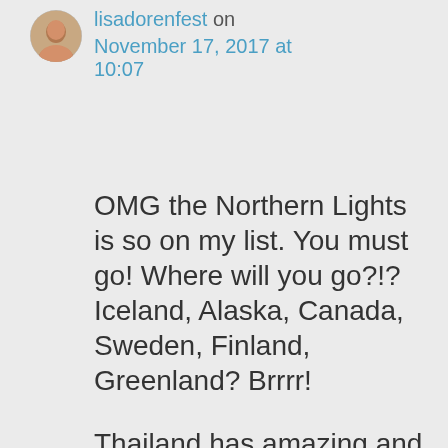[Figure (photo): Small circular avatar photo of a person (lisadorenfest)]
lisadorenfest on November 17, 2017 at 10:07
OMG the Northern Lights is so on my list. You must go! Where will you go?!? Iceland, Alaska, Canada, Sweden, Finland, Greenland? Brrrr!
Thailand has amazing and affordable treatment. Mom said it is the best hospital stay